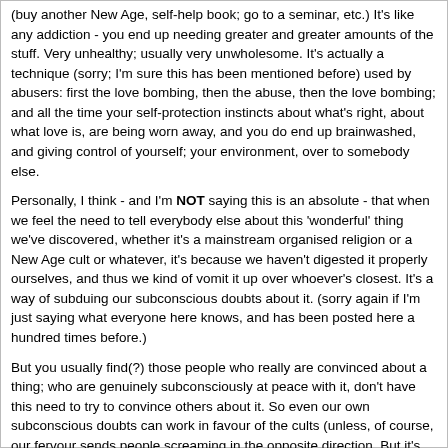(buy another New Age, self-help book; go to a seminar, etc.) It's like any addiction - you end up needing greater and greater amounts of the stuff. Very unhealthy; usually very unwholesome. It's actually a technique (sorry; I'm sure this has been mentioned before) used by abusers: first the love bombing, then the abuse, then the love bombing; and all the time your self-protection instincts about what's right, about what love is, are being worn away, and you do end up brainwashed, and giving control of yourself; your environment, over to somebody else.
Personally, I think - and I'm NOT saying this is an absolute - that when we feel the need to tell everybody else about this 'wonderful' thing we've discovered, whether it's a mainstream organised religion or a New Age cult or whatever, it's because we haven't digested it properly ourselves, and thus we kind of vomit it up over whoever's closest. It's a way of subduing our subconscious doubts about it. (sorry again if I'm just saying what everyone here knows, and has been posted here a hundred times before.)
But you usually find(?) those people who really are convinced about a thing; who are genuinely subconsciously at peace with it, don't have this need to try to convince others about it. So even our own subconscious doubts can work in favour of the cults (unless, of course, our fervour sends people screaming in the opposite direction. But it's all still grassroots stuff - and nobody knows the power of grassroots support better than the 'gurus'.)
Meant to say re Byron Katie's mirror stuff - at the end of the day, all you get when you look in a mirror is your own reflection. Enough of that will drive you mad in the end. It all forces you back on yourself, and I don't think that's as healthy as we've been led to believe. Being trapped in a hall of mirrors can drive you mad. (There's even a New Age book called 'Wherever you go, There you Are', or something similar. But I haven't read it, so shouldn't comment on it. Apologies if it's something completely different ...)
All this is my own subjective stuff, and I certainly can't prove any of it. So if I'm wri...